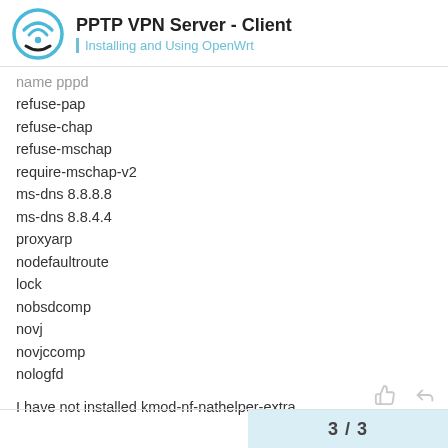PPTP VPN Server - Client | Installing and Using OpenWrt
name pppd
refuse-pap
refuse-chap
refuse-mschap
require-mschap-v2
ms-dns 8.8.8.8
ms-dns 8.8.4.4
proxyarp
nodefaultroute
lock
nobsdcomp
novj
novjccomp
nologfd
I have not installed kmod-nf-nathelper-extra.
3 / 3